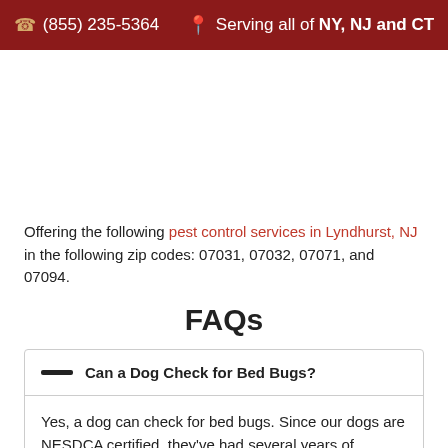📞 (855) 235-5364   📍 Serving all of NY, NJ and CT
Offering the following pest control services in Lyndhurst, NJ in the following zip codes: 07031, 07032, 07071, and 07094.
FAQs
— Can a Dog Check for Bed Bugs?
Yes, a dog can check for bed bugs. Since our dogs are NESDCA certified, they've had several years of training